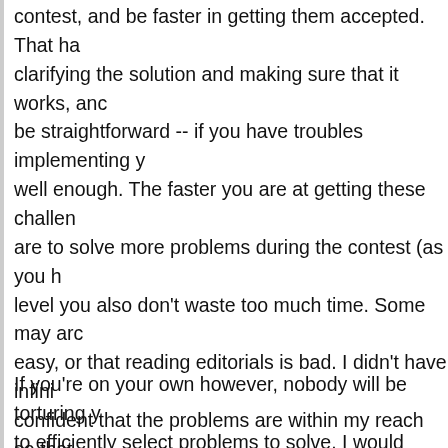contest, and be faster in getting them accepted. That ha clarifying the solution and making sure that it works, anc be straightforward -- if you have troubles implementing y well enough. The faster you are at getting these challen are to solve more problems during the contest (as you h level you also don't waste too much time. Some may arc easy, or that reading editorials is bad. I didn't have infini confident that the problems are within my reach so that felt very important to me. When I was in high school, my problem over and over to the top students until someone difficult problems, wanting to quit as soon as I saw one c
If you're on your own however, nobody will be torturing y to efficiently select problems to solve. I would always so competitions or from my juniors. But overall I wasted a l not developing me (that includes participating in contest where the proposed practice method excels — you don't almost all) of very high quality, you have a nearly infinite warning here — if you're preparing for ICPC or some oth